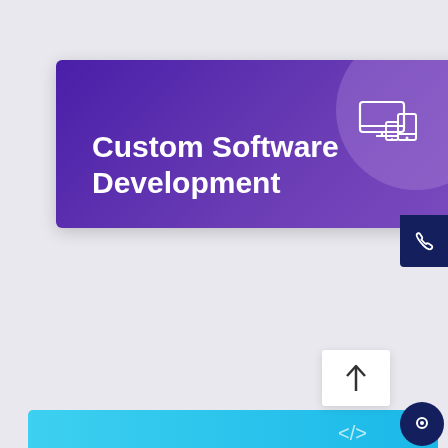[Figure (infographic): Card with purple gradient background, icon of screens/devices in top right circle, and bold white text reading 'Custom Software Development']
[Figure (infographic): Card with purple-to-cyan gradient background, icon of report/chart document in top right circle, bold white text reading 'Outsoursing Development', with phone button, up-arrow box, and chat bubble overlays]
[Figure (infographic): Partial third card with cyan gradient visible at bottom of page]